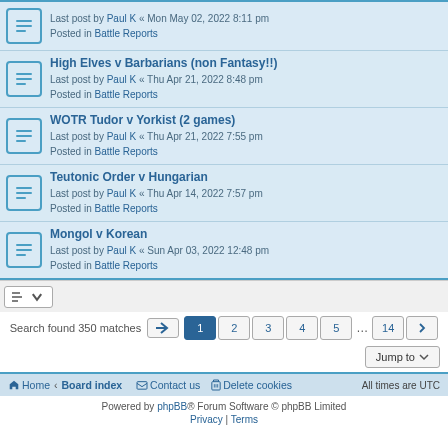Last post by Paul K « Mon May 02, 2022 8:11 pm
Posted in Battle Reports
High Elves v Barbarians (non Fantasy!!)
Last post by Paul K « Thu Apr 21, 2022 8:48 pm
Posted in Battle Reports
WOTR Tudor v Yorkist (2 games)
Last post by Paul K « Thu Apr 21, 2022 7:55 pm
Posted in Battle Reports
Teutonic Order v Hungarian
Last post by Paul K « Thu Apr 14, 2022 7:57 pm
Posted in Battle Reports
Mongol v Korean
Last post by Paul K « Sun Apr 03, 2022 12:48 pm
Posted in Battle Reports
Search found 350 matches  1 2 3 4 5 … 14
Jump to
Home · Board index   Contact us   Delete cookies   All times are UTC
Powered by phpBB® Forum Software © phpBB Limited
Privacy | Terms